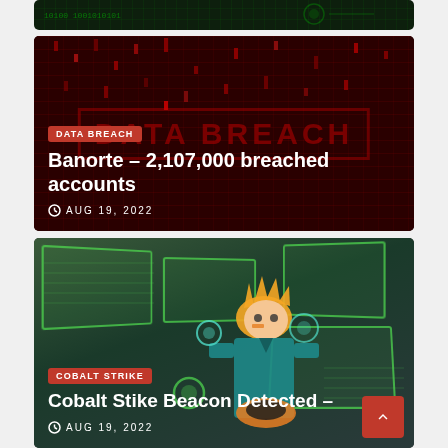[Figure (illustration): Partial dark green circuit board background image at top of page]
[Figure (illustration): Red matrix/binary code background with DATA BREACH watermark text overlay]
DATA BREACH
Banorte – 2,107,000 breached accounts
AUG 19, 2022
[Figure (illustration): Anime-style character with orange hair in teal outfit surrounded by holographic green screen panels with robotic arms]
COBALT STRIKE
Cobalt Stike Beacon Detected –
AUG 19, 2022